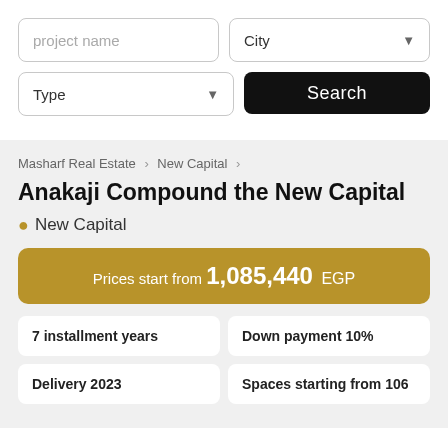project name
City
Type
Search
Masharf Real Estate > New Capital >
Anakaji Compound the New Capital
New Capital
Prices start from 1,085,440 EGP
7 installment years
Down payment 10%
Delivery 2023
Spaces starting from 106